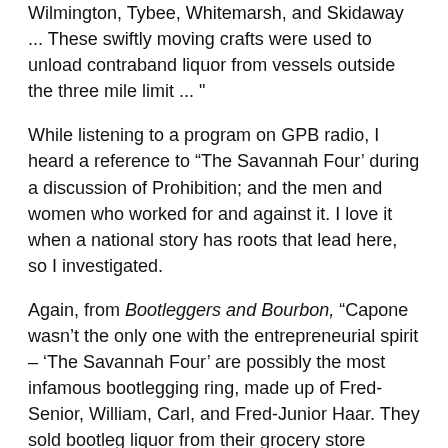Wilmington, Tybee, Whitemarsh, and Skidaway ... These swiftly moving crafts were used to unload contraband liquor from vessels outside the three mile limit ... "
While listening to a program on GPB radio, I heard a reference to “The Savannah Four’ during a discussion of Prohibition; and the men and women who worked for and against it. I love it when a national story has roots that lead here, so I investigated.
Again, from Bootleggers and Bourbon, “Capone wasn’t the only one with the entrepreneurial spirit – ‘The Savannah Four’ are possibly the most infamous bootlegging ring, made up of Fred-Senior, William, Carl, and Fred-Junior Haar. They sold bootleg liquor from their grocery store during statewide Prohibition; National Prohibition made them even more successful. They controlled a fleet of ships that ran loads of booze from Scotland, France, Cuba, and the Bahamas; once shipments were brought ashore they were broken down and run by road, typically in trucks, disguised as potatoes, or in faux oil tankers.”
The Haar...